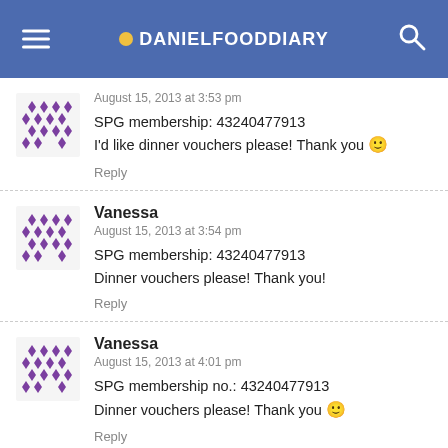DANIELFOODDIARY
August 15, 2013 at 3:53 pm
SPG membership: 43240477913
I'd like dinner vouchers please! Thank you 🙂
Reply
Vanessa
August 15, 2013 at 3:54 pm
SPG membership: 43240477913
Dinner vouchers please! Thank you!
Reply
Vanessa
August 15, 2013 at 4:01 pm
SPG membership no.: 43240477913
Dinner vouchers please! Thank you 🙂
Reply